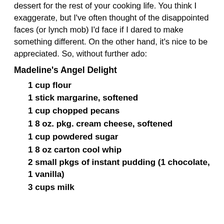dessert for the rest of your cooking life. You think I exaggerate, but I've often thought of the disappointed faces (or lynch mob) I'd face if I dared to make something different. On the other hand, it's nice to be appreciated. So, without further ado:
Madeline's Angel Delight
1 cup flour
1 stick margarine, softened
1 cup chopped pecans
1 8 oz. pkg. cream cheese, softened
1 cup powdered sugar
1 8 oz carton cool whip
2 small pkgs of instant pudding (1 chocolate, 1 vanilla)
3 cups milk